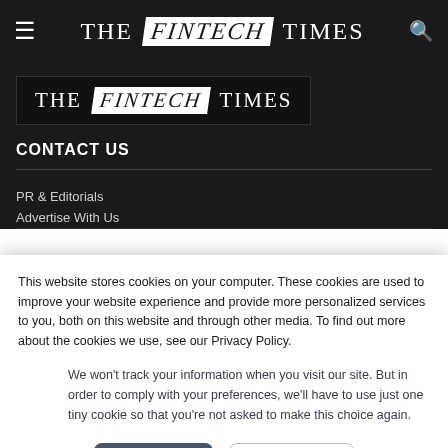THE FINTECH TIMES
[Figure (logo): The Fintech Times logo — white text on black background with FINTECH in italic highlighted box]
CONTACT US
PR & Editorials
Advertise With Us
This website stores cookies on your computer. These cookies are used to improve your website experience and provide more personalized services to you, both on this website and through other media. To find out more about the cookies we use, see our Privacy Policy.
We won't track your information when you visit our site. But in order to comply with your preferences, we'll have to use just one tiny cookie so that you're not asked to make this choice again.